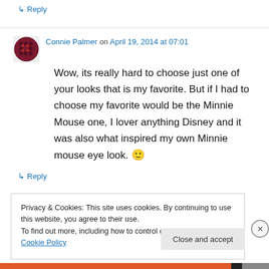↳ Reply
Connie Palmer on April 19, 2014 at 07:01
Wow, its really hard to choose just one of your looks that is my favorite. But if I had to choose my favorite would be the Minnie Mouse one, I lover anything Disney and it was also what inspired my own Minnie mouse eye look. 🙂
↳ Reply
Privacy & Cookies: This site uses cookies. By continuing to use this website, you agree to their use.
To find out more, including how to control cookies, see here: Cookie Policy
Close and accept